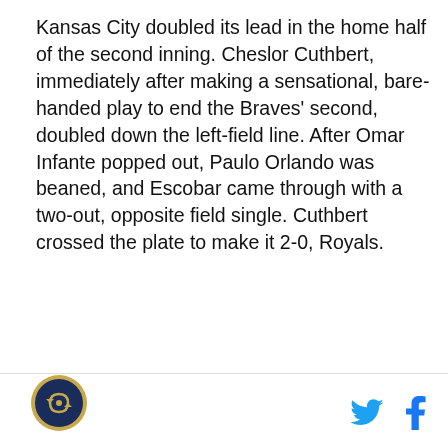Kansas City doubled its lead in the home half of the second inning. Cheslor Cuthbert, immediately after making a sensational, bare-handed play to end the Braves' second, doubled down the left-field line. After Omar Infante popped out, Paulo Orlando was beaned, and Escobar came through with a two-out, opposite field single. Cuthbert crossed the plate to make it 2-0, Royals.
[Figure (logo): Circular logo with gold/navy border featuring a stylized baseball design in the center]